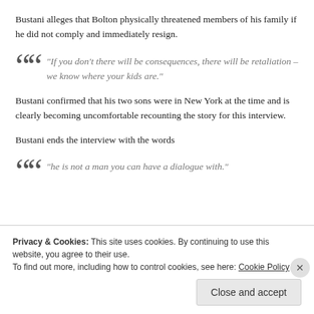Bustani alleges that Bolton physically threatened members of his family if he did not comply and immediately resign.
“If you don’t there will be consequences, there will be retaliation – we know where your kids are.”
Bustani confirmed that his two sons were in New York at the time and is clearly becoming uncomfortable recounting the story for this interview.
Bustani ends the interview with the words
“he is not a man you can have a dialogue with.”
Privacy & Cookies: This site uses cookies. By continuing to use this website, you agree to their use.
To find out more, including how to control cookies, see here: Cookie Policy